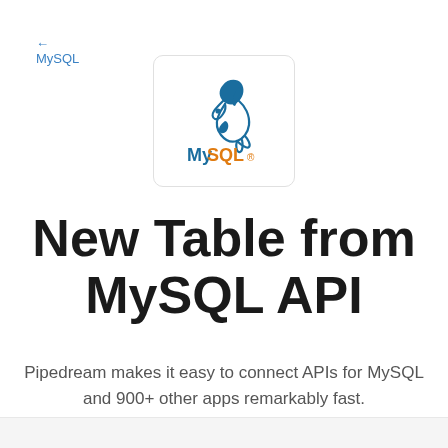← MySQL
[Figure (logo): MySQL logo: a dolphin illustration in blue outline above the text 'MySQL.' with 'My' in blue and 'SQL.' in orange, inside a rounded rectangle border]
New Table from MySQL API
Pipedream makes it easy to connect APIs for MySQL and 900+ other apps remarkably fast.